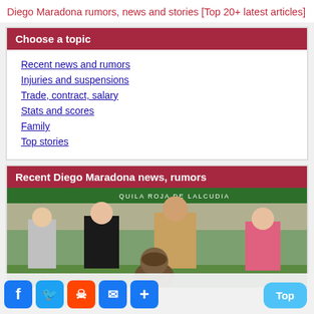Diego Maradona rumors, news and stories [Top 20+ latest articles]
Choose a topic
Recent news and rumors
Injuries and suspensions
Trade, contract, salary
Stats and scores
Family
Top stories
Recent Diego Maradona news, rumors
[Figure (photo): Group of men applauding next to a bronze bust of Diego Maradona at a football event]
Social share buttons: Facebook, Twitter, Reddit, Email, Share. Top button.